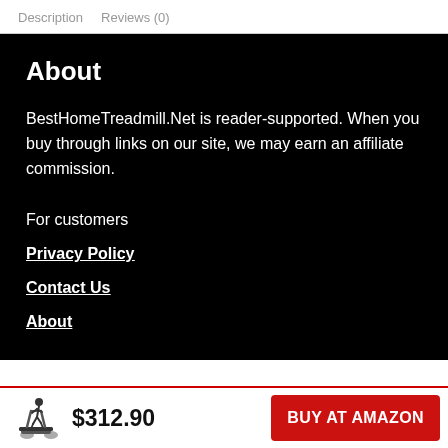Description   Reviews (0)
About
BestHomeTreadmill.Net is reader-supported. When you buy through links on our site, we may earn an affiliate commission.
For customers
Privacy Policy
Contact Us
About
$312.90
BUY AT AMAZON